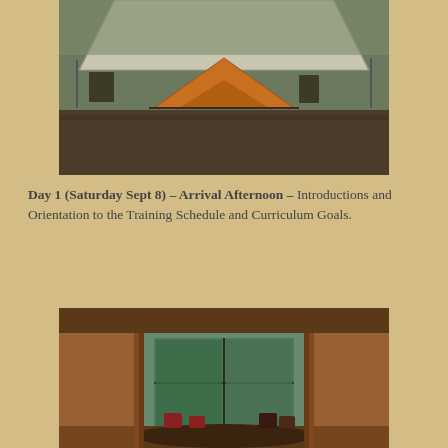[Figure (photo): An orange tent set up at a campsite with a large white canopy/tarp overhead; camp furniture visible in the background on a grassy/dirt area.]
Day 1 (Saturday Sept 8) – Arrival Afternoon – Introductions and Orientation to the Training Schedule and Curriculum Goals.
[Figure (photo): Interior of a rustic lodge or meeting hall with wooden walls, a large window looking out to trees, and chairs arranged in a circle around a central table.]